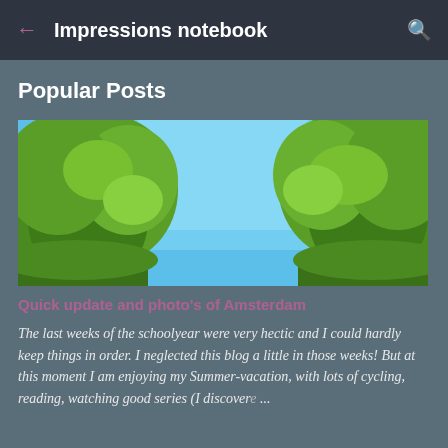Impressions notebook
Popular Posts
[Figure (photo): Outdoor photo looking up at green leafy trees on left and right sides with a clear bright blue sky in the center background]
Quick update and photo's of Amsterdam
The last weeks of the schoolyear were very hectic and I could hardly keep things in order. I neglected this blog a little in those weeks! But at this moment I am enjoying my Summer-vacation, with lots of cycling, reading, watching good series (I discove... ...